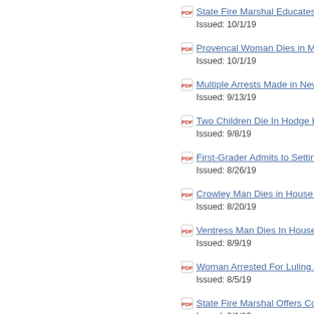State Fire Marshal Educates Public on
Issued: 10/1/19
Provencal Woman Dies in Mobile Home
Issued: 10/1/19
Multiple Arrests Made in New Llano Ho
Issued: 9/13/19
Two Children Die In Hodge House Fire
Issued: 9/8/19
First-Grader Admits to Setting Vivian Ch
Issued: 8/26/19
Crowley Man Dies in House Fire
Issued: 8/20/19
Ventress Man Dies In House Fire, Son
Issued: 8/9/19
Woman Arrested For Luling Apartment
Issued: 8/5/19
State Fire Marshal Offers Cooking Safe
Issued: 8/1/19
Inmates Arrested for Washington Parish
Issued: 7/25/19
Iberia Parish Sheriff's Deputy Dies in M
Issued: 7/17/19